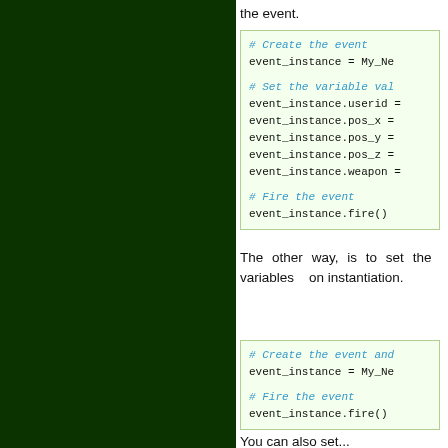the event.
# Create the event
event_instance = My_Ne...
# Set the variable val...
event_instance.userid =
event_instance.pos_x =
event_instance.pos_y =
event_instance.pos_z =
event_instance.weapon =
# Fire the event
event_instance.fire()
The other way, is to set the variables on instantiation.
# Create the event and...
event_instance = My_Ne...
# Fire the event
event_instance.fire()
You can also set...